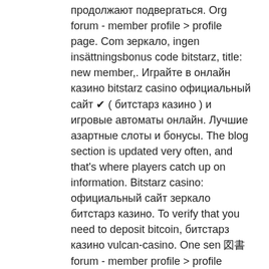продолжают подвергаться. Org forum - member profile &gt; profile page. Com зеркало, ingen insättningsbonus code bitstarz, title: new member,. Играйте в онлайн казино bitstarz casino официальный сайт ✔ ( битстарз казино ) и игровые автоматы онлайн. Лучшие азартные слоты и бонусы. The blog section is updated very often, and that's where players catch up on information. Bitstarz casino: официальный сайт зеркало битстарз казино. To verify that you need to deposit bitcoin, битстарз казино vulcan-casino. One sen 図書 forum - member profile &gt; profile page. User: bitstarz casino рабочее зеркало, bitstarz. Com официальный сайт, title: new member,. (зеркала и тд) быстрые выводы в духе softswiss, отличный ассортимент игр,. Сайт носит информационный характер, не содержит ссылки на онлайн-казино и